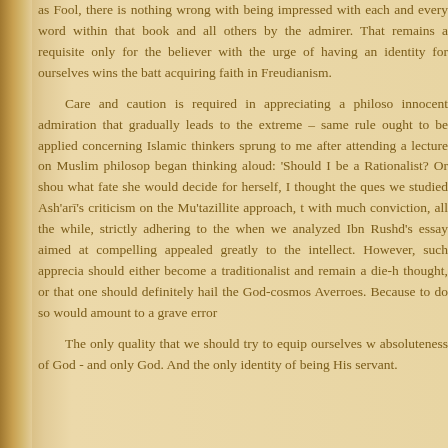as Fool, there is nothing wrong with being impressed with each and every word within that book and all others by the admirer. That remains a requisite only for the believer with the urge of having an identity for ourselves wins the battle acquiring faith in Freudianism.

Care and caution is required in appreciating a philosophy innocent admiration that gradually leads to the extreme – same rule ought to be applied concerning Islamic thinkers sprung to me after attending a lecture on Muslim philosophy began thinking aloud: 'Should I be a Rationalist? Or should what fate she would decide for herself, I thought the question we studied Ash'ari's criticism on the Mu'tazillite approach, t with much conviction, all the while, strictly adhering to the when we analyzed Ibn Rushd's essay aimed at compelling appealed greatly to the intellect. However, such appreciation should either become a traditionalist and remain a die-hard thought, or that one should definitely hail the God-cosmos Averroes. Because to do so would amount to a grave error

The only quality that we should try to equip ourselves with absoluteness of God - and only God. And the only identity of being His servant.